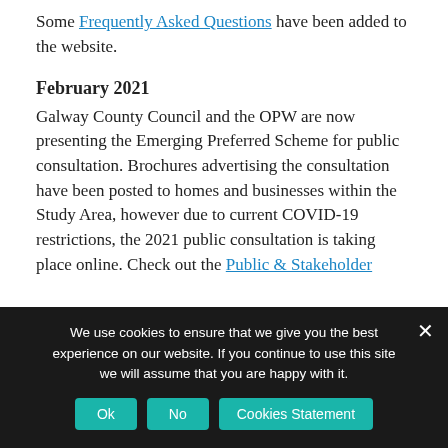Some Frequently Asked Questions have been added to the website.
February 2021
Galway County Council and the OPW are now presenting the Emerging Preferred Scheme for public consultation. Brochures advertising the consultation have been posted to homes and businesses within the Study Area, however due to current COVID-19 restrictions, the 2021 public consultation is taking place online. Check out the Public & Stakeholder
We use cookies to ensure that we give you the best experience on our website. If you continue to use this site we will assume that you are happy with it.